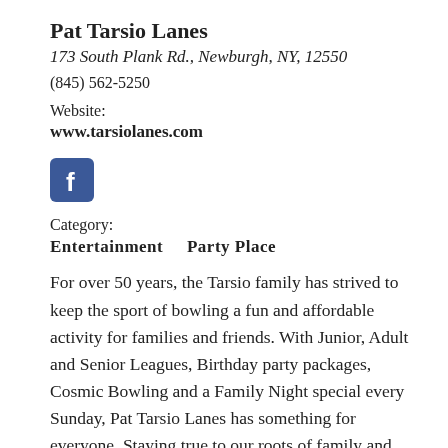Pat Tarsio Lanes
173 South Plank Rd., Newburgh, NY, 12550
(845) 562-5250
Website:
www.tarsiolanes.com
[Figure (logo): Facebook logo icon — white 'f' on blue rounded square background]
Category:
Entertainment    Party Place
For over 50 years, the Tarsio family has strived to keep the sport of bowling a fun and affordable activity for families and friends. With Junior, Adult and Senior Leagues, Birthday party packages, Cosmic Bowling and a Family Night special every Sunday, Pat Tarsio Lanes has something for everyone. Staying true to our roots of family and community, we continue to promote family values and healthy living through competitive sport and recreation. In